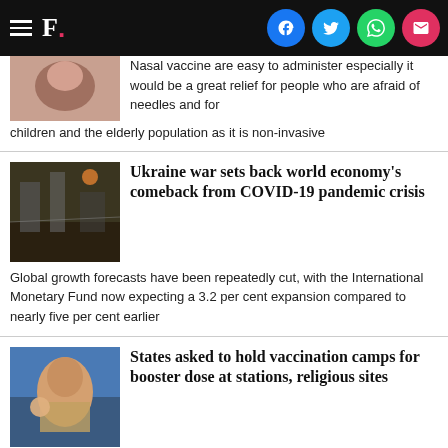F. [navigation bar with social icons]
Nasal vaccine are easy to administer especially it would be a great relief for people who are afraid of needles and for children and the elderly population as it is non-invasive
Ukraine war sets back world economy's comeback from COVID-19 pandemic crisis
Global growth forecasts have been repeatedly cut, with the International Monetary Fund now expecting a 3.2 per cent expansion compared to nearly five per cent earlier
States asked to hold vaccination camps for booster dose at stations, religious sites
The precaution dose coverage among the 64,89,99,721 eligible population was eight per cent till 14 July